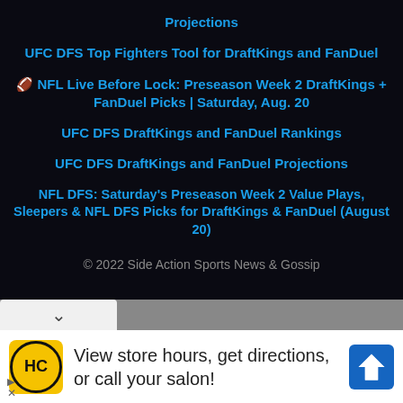Projections
UFC DFS Top Fighters Tool for DraftKings and FanDuel
🏈 NFL Live Before Lock: Preseason Week 2 DraftKings + FanDuel Picks | Saturday, Aug. 20
UFC DFS DraftKings and FanDuel Rankings
UFC DFS DraftKings and FanDuel Projections
NFL DFS: Saturday's Preseason Week 2 Value Plays, Sleepers & NFL DFS Picks for DraftKings & FanDuel (August 20)
© 2022 Side Action Sports News & Gossip
[Figure (screenshot): Advertisement banner: HC salon logo with text 'View store hours, get directions, or call your salon!' and a blue navigation arrow icon. Skip/close controls visible at bottom left.]